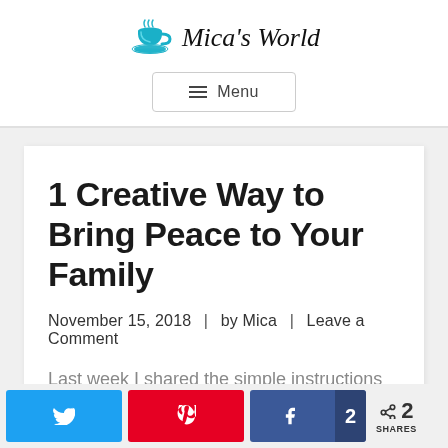Mica's World
Menu
1 Creative Way to Bring Peace to Your Family
November 15, 2018   |   by Mica   |   Leave a Comment
Last week I shared the simple instructions for doodling your way to a more peaceful heart. Be sure to check it out if you want another simple